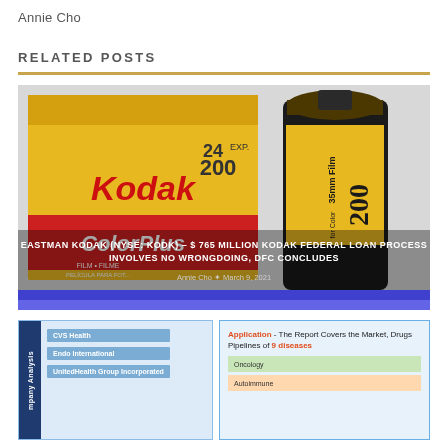Annie Cho
RELATED POSTS
[Figure (photo): Kodak ColorPlus 200 film box and 35mm film canister on a white background. Overlay text: EASTMAN KODAK (NYSE: KODK) – $ 765 MILLION KODAK FEDERAL LOAN PROCESS INVOLVES NO WRONGDOING, DFC CONCLUDES. Author: Annie Cho. Date: March 9, 2021.]
[Figure (infographic): Company Analysis card showing CVS Health, Endo International, UnitedHealth Group Incorporated as listed items with blue sidebar.]
[Figure (infographic): Application card - The Report Covers the Market, Drugs Pipelines of 9 diseases. Shows Oncology and Autoimmune disease bars.]